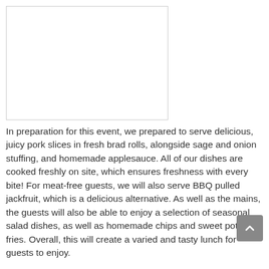[Figure (photo): Blank white image placeholder with a light grey border]
In preparation for this event, we prepared to serve delicious, juicy pork slices in fresh brad rolls, alongside sage and onion stuffing, and homemade applesauce. All of our dishes are cooked freshly on site, which ensures freshness with every bite! For meat-free guests, we will also serve BBQ pulled jackfruit, which is a delicious alternative. As well as the mains, the guests will also be able to enjoy a selection of seasonal salad dishes, as well as homemade chips and sweet potato fries. Overall, this will create a varied and tasty lunch for guests to enjoy.